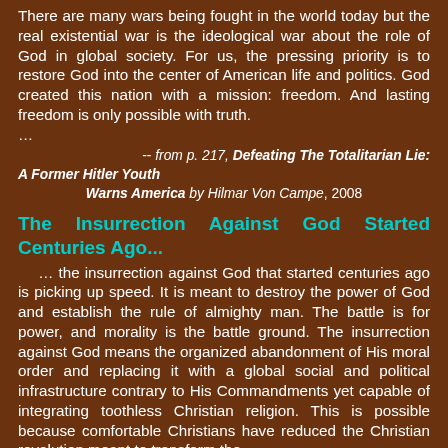There are many wars being fought in the world today but the real existential war is the ideological war about the role of God in global society. For us, the pressing priority is to restore God into the center of American life and politics. God created this nation with a mission: freedom. And lasting freedom is only possible with truth.
…
-- from p. 217, Defeating The Totalitarian Lie: A Former Hitler Youth Warns America by Hilmar Von Campe, 2008
The Insurrection Against God Started Centuries Ago...
… the insurrection against God that started centuries ago is picking up speed. It is meant to destroy the power of God and establish the rule of almighty man. The battle is for power, and morality is the battle ground. The insurrection against God means the organized abandonment of His moral order and replacing it with a global social and political infrastructure contrary to His Commandments yet capable of integrating toothless Christian religion. This is possible because comfortable Christians have reduced the Christian revolution meant to transform the